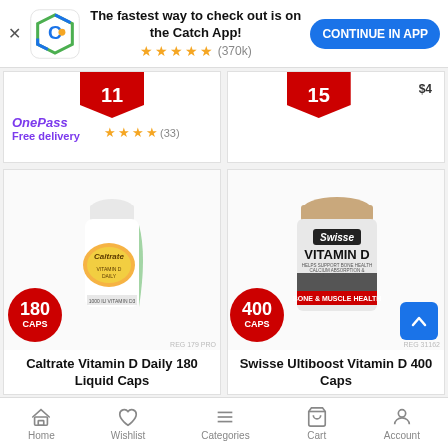[Figure (screenshot): Catch app promotional banner with logo, tagline 'The fastest way to check out is on the Catch App!', 5-star rating (370k reviews), and 'CONTINUE IN APP' button]
[Figure (photo): Partial product card showing red price badge '11' and OnePass free delivery with 4-star rating (33 reviews)]
[Figure (photo): Partial product card showing red price badge '15' and '$4' was price]
[Figure (photo): Caltrate Vitamin D Daily 180 Liquid Caps product bottle with red '180 CAPS' badge]
Caltrate Vitamin D Daily 180 Liquid Caps
[Figure (photo): Swisse Ultiboost Vitamin D 400 Caps product jar with red '400 CAPS' badge and blue scroll-to-top button]
Swisse Ultiboost Vitamin D 400 Caps
Home  Wishlist  Categories  Cart  Account